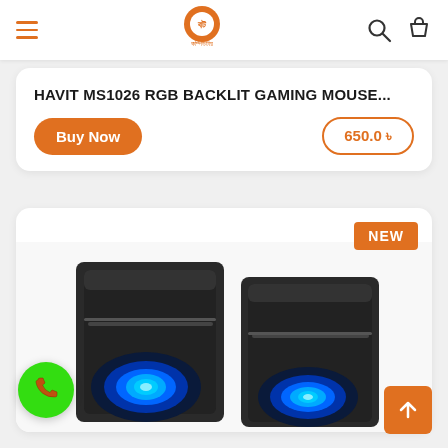Header with hamburger menu, logo (বট কম্পিউটার), search and cart icons
HAVIT MS1026 RGB BACKLIT GAMING MOUSE...
Buy Now
650.0 ৳
NEW
[Figure (photo): Two black cube-shaped gaming speakers with glowing blue owl-eye LED lights on the front grills]